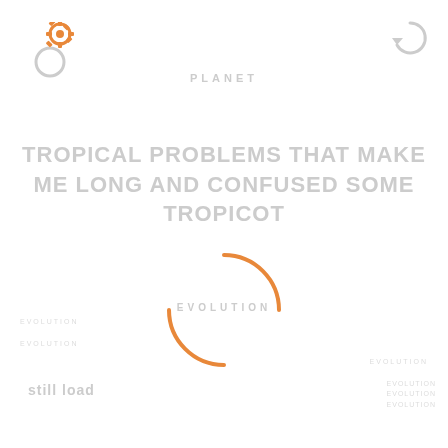[Figure (logo): Orange and grey gear/cog icon in the top-left area]
[Figure (logo): Grey circular arrow icon in the top-right area]
PLANET
TROPICAL PROBLEMS THAT MAKE ME LONG AND CONFUSED SOME TROPICOT
[Figure (other): Orange partial circle / loading spinner graphic in the center of the page]
EVOLUTION
EVOLUTION
EVOLUTION
EVOLUTION
EVOLUTION
still load